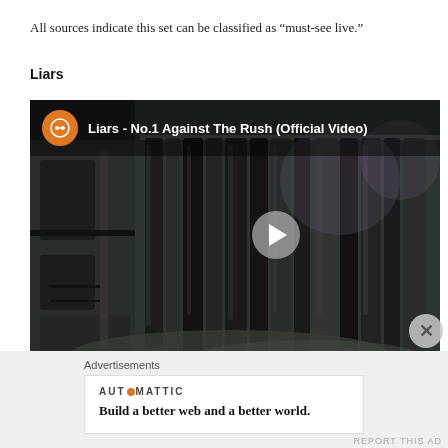All sources indicate this set can be classified as “must-see live.”
Liars
[Figure (screenshot): Embedded YouTube video thumbnail for 'Liars - No.1 Against The Rush (Official Video)' showing dark industrial scene with hanging plastic-wrapped clothing in a warehouse. A play button is visible in the center-right. The video player has an orange channel icon and white title text at the top.]
Advertisements
[Figure (infographic): Automattic advertisement showing logo with orange dot and tagline 'Build a better web and a better world.']